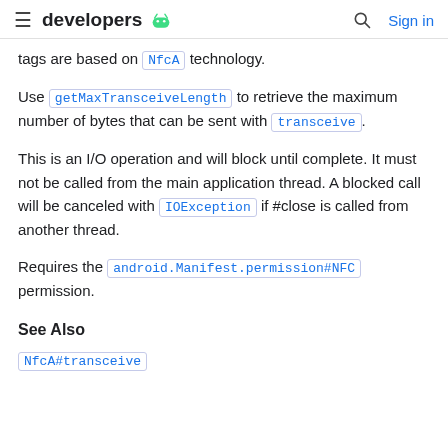developers (android logo) | Search | Sign in
tags are based on NfcA technology.
Use getMaxTransceiveLength to retrieve the maximum number of bytes that can be sent with transceive.
This is an I/O operation and will block until complete. It must not be called from the main application thread. A blocked call will be canceled with IOException if #close is called from another thread.
Requires the android.Manifest.permission#NFC permission.
See Also
NfcA#transceive